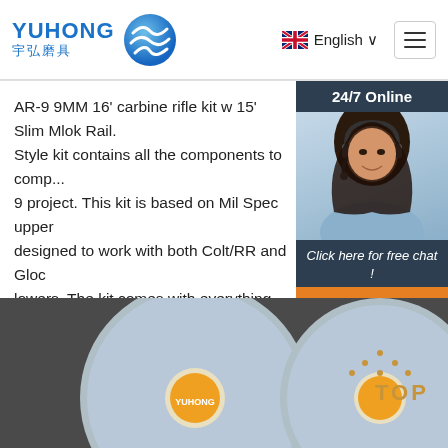YUHONG 宇弘磨具 | English
AR-9 9MM 16' carbine rifle kit w 15' Slim Mlok Rail. Style kit contains all the components to comp... 9 project. This kit is based on Mil Spec upper designed to work with both Colt/RR and Gloc lowers. The kit comes with everything you ne... complete your AR9 ri..
Get Price
[Figure (photo): Customer service representative with headset, 24/7 Online chat widget with QUOTATION button]
[Figure (photo): Two blue grinding wheels on dark background with Yuhong branding and TOP watermark]